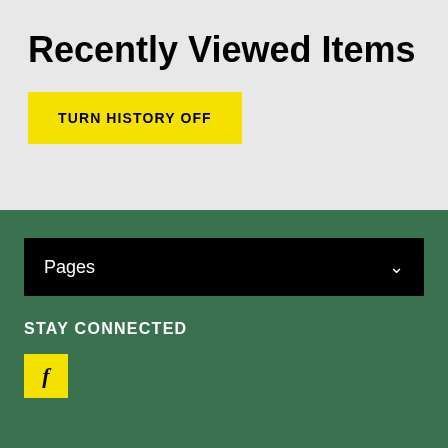Recently Viewed Items
TURN HISTORY OFF
Pages
STAY CONNECTED
[Figure (logo): Facebook icon button in yellow square]